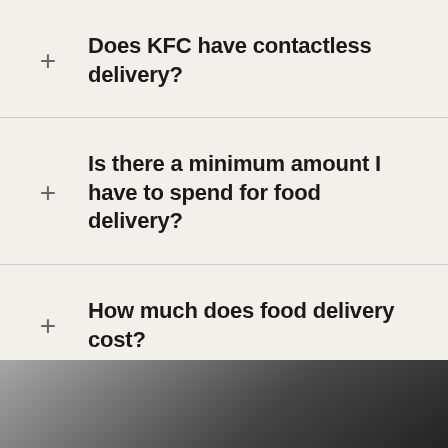Does KFC have contactless delivery?
Is there a minimum amount I have to spend for food delivery?
How much does food delivery cost?
[Figure (photo): Black and white photo of a car interior/exterior, partially visible at the bottom of the page.]